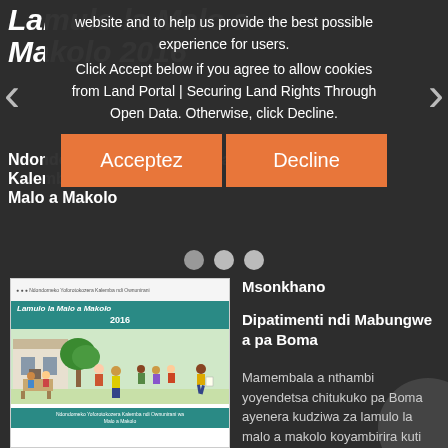Lamulo la Malo a Makolo 2016
Ndondomeko Yoforotokozera Kalemba ndi Ownunirani wa Malo a Makolo
website and to help us provide the best possible experience for users. Click Accept below if you agree to allow cookies from Land Portal | Securing Land Rights Through Open Data. Otherwise, click Decline.
[Figure (illustration): Cookie consent overlay with Acceptez and Decline buttons over a Land Portal webpage showing a book cover thumbnail]
Msonkhano
Dipatimenti ndi Mabungwe a pa Boma
Mamembala a nthambi yoyendetsa chitukuko pa Boma ayenera kudziwa za lamulo la malo a makolo koyambirira kuti asankhe dera lomwe